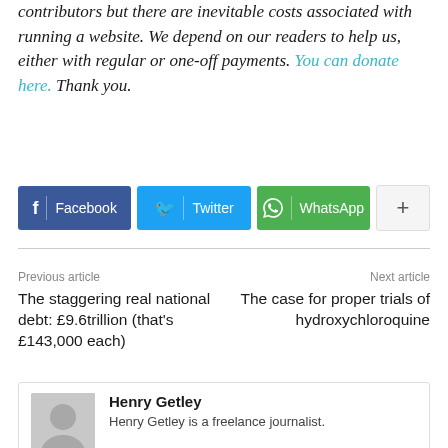contributors but there are inevitable costs associated with running a website. We depend on our readers to help us, either with regular or one-off payments. You can donate here. Thank you.
[Figure (infographic): Social share buttons: Facebook (blue), Twitter (light blue), WhatsApp (green), and a plus/more button (grey)]
Previous article
The staggering real national debt: £9.6trillion (that's £143,000 each)
Next article
The case for proper trials of hydroxychloroquine
Henry Getley
Henry Getley is a freelance journalist.